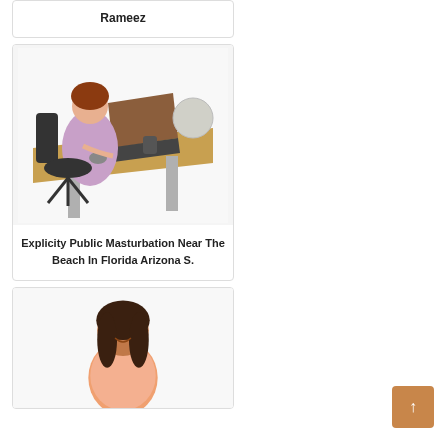Rameez
[Figure (photo): Woman sitting at a wooden desk with a laptop, office accessories, and a decorative globe on a white background]
Explicity Public Masturbation Near The Beach In Florida Arizona S.
[Figure (photo): Young woman in a peach tank top sitting casually, on a white background]